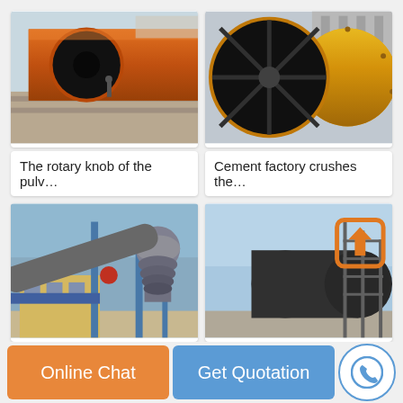[Figure (photo): Large orange cylindrical rotary kiln tube lying horizontally, viewed from the open end, with a person standing nearby for scale]
The rotary knob of the pulv…
[Figure (photo): Large yellow/orange conical cylindrical industrial drum or ball mill lying on its side viewed from the front opening]
Cement factory crushes the…
[Figure (photo): Industrial cement factory with rotary kiln, cyclone preheater tower, blue steel structures and yellow building]
[Figure (photo): Large dark cylindrical industrial rotary kiln being installed at a factory site with scaffolding, with an orange upload/share icon overlay]
Online Chat
Get Quotation